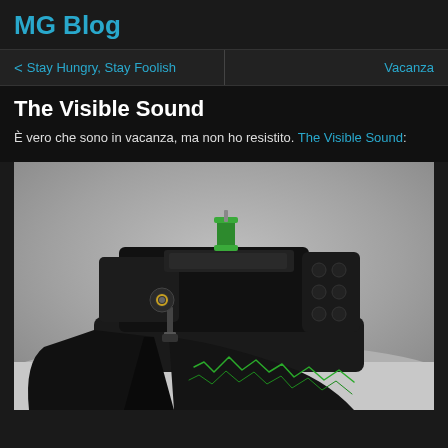MG Blog
< Stay Hungry, Stay Foolish    Vacanza
The Visible Sound
È vero che sono in vacanza, ma non ho resistito. The Visible Sound:
[Figure (photo): A black sewing machine with a green thread spool on top, sitting on a white surface. Black fabric with a green stitched waveform pattern feeds out from the machine.]